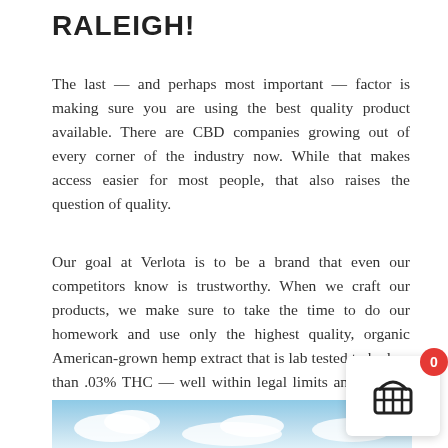RALEIGH!
The last — and perhaps most important — factor is making sure you are using the best quality product available. There are CBD companies growing out of every corner of the industry now. While that makes access easier for most people, that also raises the question of quality.
Our goal at Verlota is to be a brand that even our competitors know is trustworthy. When we craft our products, we make sure to take the time to do our homework and use only the highest quality, organic American-grown hemp extract that is lab tested to be less than .03% THC — well within legal limits and with no unwanted side effects.
[Figure (photo): A sky with clouds at the bottom of the page.]